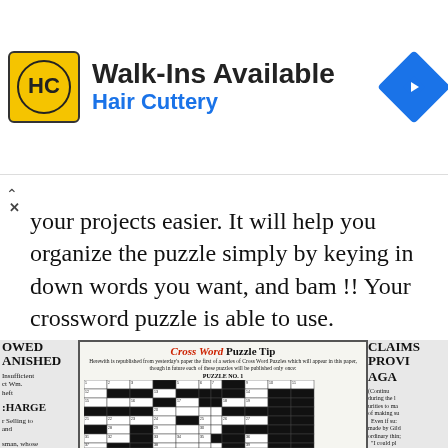[Figure (infographic): Advertisement banner for Hair Cuttery salon showing logo, Walk-Ins Available headline, and navigation icon]
your projects easier. It will help you organize the puzzle simply by keying in down words you want, and bam !! Your crossword puzzle is able to use.
[Figure (photo): Newspaper clipping showing a Cross Word Puzzle Tip section with PUZZLE NO. 1 crossword grid, surrounded by partial newspaper columns with text about OWED, ANISHED, CHARGE, CLAIMS, PROVI, AGA]